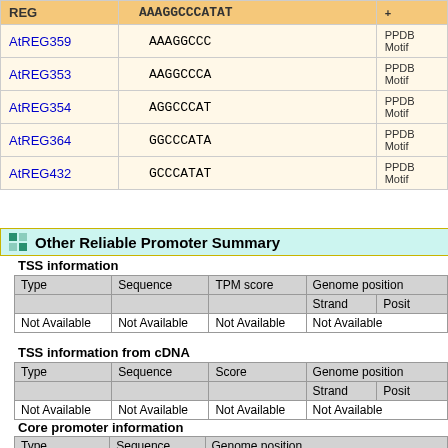| REG | AAAGGCCCATAT | + |
| --- | --- | --- |
| AtREG359 | AAAGGCCC | PPDB Motif |
| AtREG353 | AAGGCCCA | PPDB Motif |
| AtREG354 | AGGCCCAT | PPDB Motif |
| AtREG364 | GGCCCATA | PPDB Motif |
| AtREG432 | GCCCATAT | PPDB Motif |
Other Reliable Promoter Summary
TSS information
| Type | Sequence | TPM score | Genome position |
| --- | --- | --- | --- |
| Not Available | Not Available | Not Available | Not Available |
TSS information from cDNA
| Type | Sequence | Score | Genome position |
| --- | --- | --- | --- |
| Not Available | Not Available | Not Available | Not Available |
Core promoter information
| Type | Sequence | Genome position |
| --- | --- | --- |